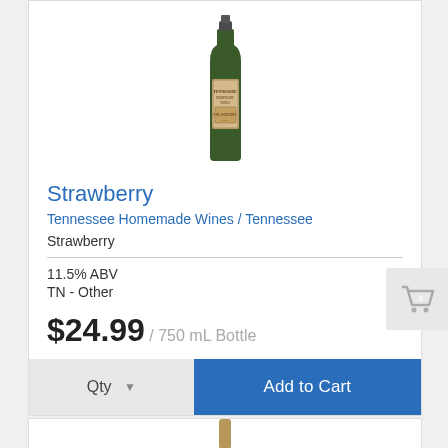[Figure (photo): Green wine bottle with a vintage-style brown label reading TENNESSEE HOMEMADE WINES, centered on white background]
Strawberry
Tennessee Homemade Wines / Tennessee
Strawberry
11.5% ABV
TN - Other
$24.99 / 750 mL Bottle
Qty ▼   Add to Cart
[Figure (photo): Partial view of another wine bottle, bottom portion, tan/brown cork or cap visible]